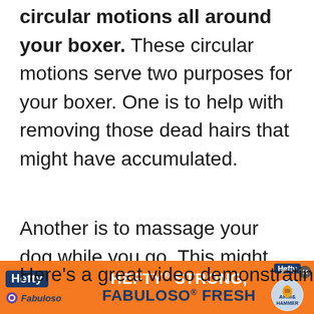circular motions all around your boxer. These circular motions serve two purposes for your boxer. One is to help with removing those dead hairs that might have accumulated.
Another is to massage your dog while you go. This might help your boxer sit still long enough to get the brushing done.
Here's a great video demonstrating
[Figure (other): Advertisement banner for Hefty Strong, Fabuloso Fresh product. Orange background with Hefty logo, Fabuloso logo, and product image on the right.]